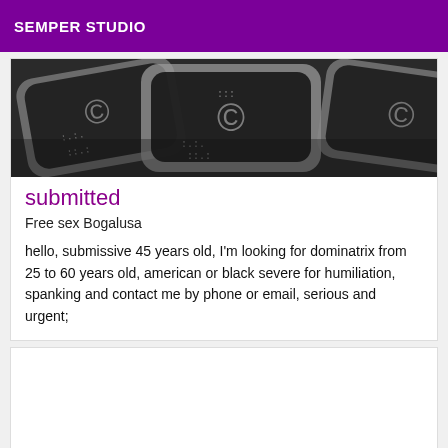SEMPER STUDIO
[Figure (photo): Dark background with multiple overlapping rounded-rectangle signs showing symbols resembling currency or emoji icons in grey and black tones.]
submitted
Free sex Bogalusa
hello, submissive 45 years old, I'm looking for dominatrix from 25 to 60 years old, american or black severe for humiliation, spanking and contact me by phone or email, serious and urgent;